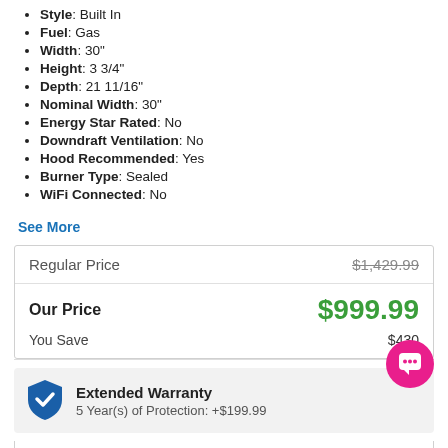Style: Built In
Fuel: Gas
Width: 30"
Height: 3 3/4"
Depth: 21 11/16"
Nominal Width: 30"
Energy Star Rated: No
Downdraft Ventilation: No
Hood Recommended: Yes
Burner Type: Sealed
WiFi Connected: No
See More
|  |  |
| --- | --- |
| Regular Price | $1,429.99 |
| Our Price | $999.99 |
| You Save | $430 |
Extended Warranty
5 Year(s) of Protection: +$199.99
Enter Zip Code *